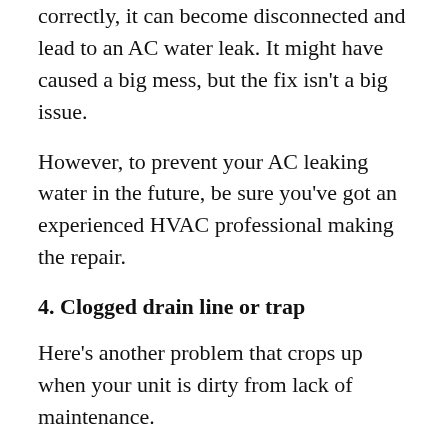correctly, it can become disconnected and lead to an AC water leak. It might have caused a big mess, but the fix isn't a big issue.
However, to prevent your AC leaking water in the future, be sure you've got an experienced HVAC professional making the repair.
4. Clogged drain line or trap
Here's another problem that crops up when your unit is dirty from lack of maintenance.
The condensation collected by your air conditioner carries the dust and debris into your drain line and your drip pan. Eventually, the drain line can clog, causing water to back up and eventually leak. The same thing can happen in the drip pan, but at that the drip pan is in...